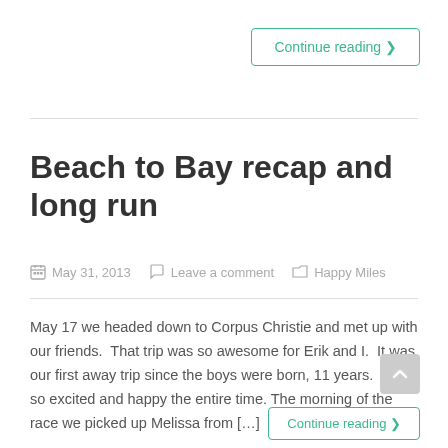Continue reading ›
Beach to Bay recap and long run
May 31, 2013   Leave a comment   Happy Miles
May 17 we headed down to Corpus Christie and met up with our friends.  That trip was so awesome for Erik and I.  It was our first away trip since the boys were born, 11 years.  I felt so excited and happy the entire time. The morning of the race we picked up Melissa from […]
Continue reading ›